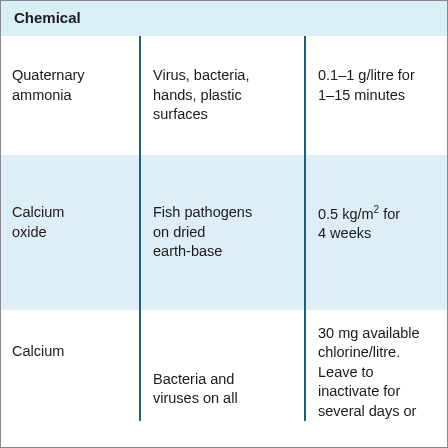| Chemical |  |  |
| --- | --- | --- |
| Quaternary ammonia | Virus, bacteria, hands, plastic surfaces | 0.1–1 g/litre for 1–15 minutes |
| Calcium oxide | Fish pathogens on dried earth-base | 0.5 kg/m² for 4 weeks |
| Calcium | Bacteria and viruses on all | 30 mg available chlorine/litre. Leave to inactivate for several days or |